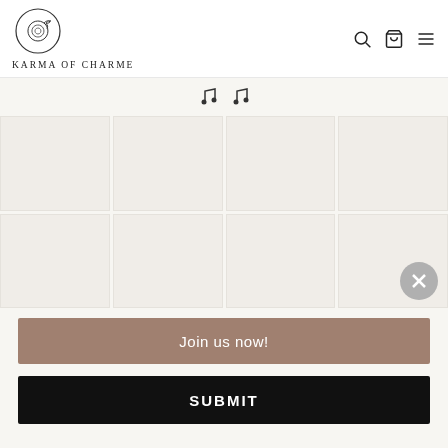[Figure (logo): Karma of Charme logo: circular emblem with decorative illustration, brand name below in spaced serif caps]
[Figure (screenshot): Product grid with 8 white/beige placeholder image cells in 4x2 layout on beige background]
Join us now!
SUBMIT